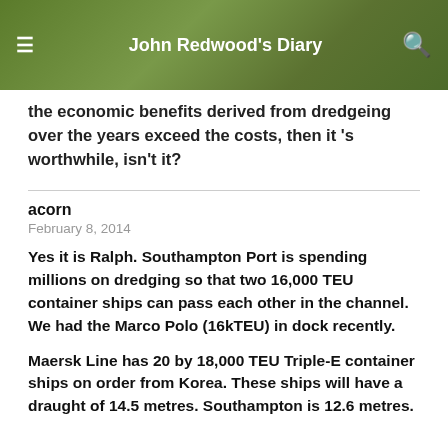John Redwood's Diary
the economic benefits derived from dredgeing over the years exceed the costs, then it 's worthwhile, isn't it?
acorn
February 8, 2014
Yes it is Ralph. Southampton Port is spending millions on dredging so that two 16,000 TEU container ships can pass each other in the channel. We had the Marco Polo (16kTEU) in dock recently.
Maersk Line has 20 by 18,000 TEU Triple-E container ships on order from Korea. These ships will have a draught of 14.5 metres. Southampton is 12.6 metres.